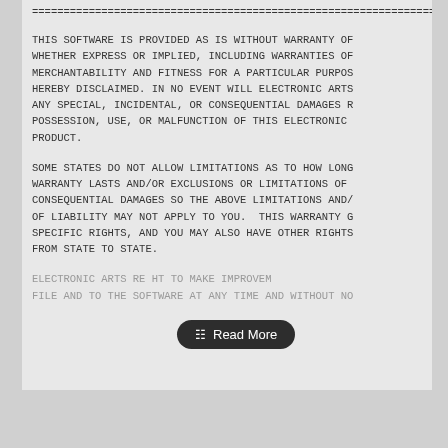================================================================
THIS SOFTWARE IS PROVIDED AS IS WITHOUT WARRANTY OF ANY KIND, WHETHER EXPRESS OR IMPLIED, INCLUDING WARRANTIES OF MERCHANTABILITY AND FITNESS FOR A PARTICULAR PURPOSE ARE HEREBY DISCLAIMED. IN NO EVENT WILL ELECTRONIC ARTS BE LIABLE FOR ANY SPECIAL, INCIDENTAL, OR CONSEQUENTIAL DAMAGES RESULTING FROM POSSESSION, USE, OR MALFUNCTION OF THIS ELECTRONIC PRODUCT.
SOME STATES DO NOT ALLOW LIMITATIONS AS TO HOW LONG AN IMPLIED WARRANTY LASTS AND/OR EXCLUSIONS OR LIMITATIONS OF INCIDENTAL OR CONSEQUENTIAL DAMAGES SO THE ABOVE LIMITATIONS AND/OR EXCLUSIONS OF LIABILITY MAY NOT APPLY TO YOU.  THIS WARRANTY GIVES YOU SPECIFIC RIGHTS, AND YOU MAY ALSO HAVE OTHER RIGHTS WHICH VARY FROM STATE TO STATE.
ELECTRONIC ARTS RESERVES THE RIGHT TO MAKE IMPROVEMENTS TO THIS FILE AND TO THE SOFTWARE AT ANY TIME AND WITHOUT NO